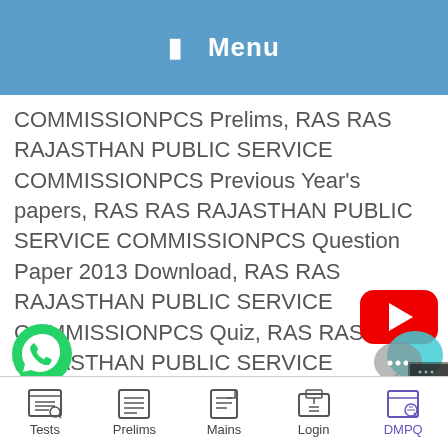☰ Menu
COMMISSIONPCS Prelims, RAS RAS RAJASTHAN PUBLIC SERVICE COMMISSIONPCS Previous Year's papers, RAS RAS RAJASTHAN PUBLIC SERVICE COMMISSIONPCS Question Paper 2013 Download, RAS RAS RAJASTHAN PUBLIC SERVICE COMMISSIONPCS Quiz, RAS RAS RAJASTHAN PUBLIC SERVICE COMMISSIONPCS Registration Number, RAS RAS RAJASTHAN PUBLIC SERVICE COMMISSIONPCS Result, RAS RAS
[Figure (logo): YouTube play button red logo]
[Figure (logo): WhatsApp green phone icon]
[Figure (logo): Chat bubble icon with dots]
Tests   Prelims   Mains   Login   DMPQ